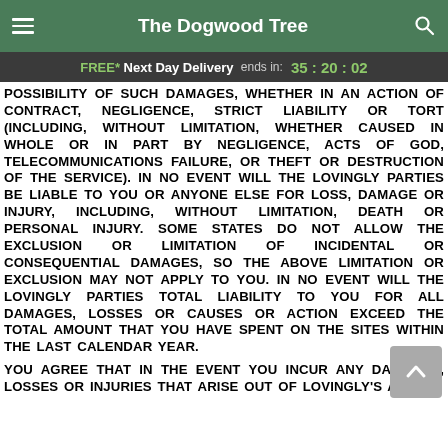The Dogwood Tree
FREE* Next Day Delivery ends in: 35:20:02
POSSIBILITY OF SUCH DAMAGES, WHETHER IN AN ACTION OF CONTRACT, NEGLIGENCE, STRICT LIABILITY OR TORT (INCLUDING, WITHOUT LIMITATION, WHETHER CAUSED IN WHOLE OR IN PART BY NEGLIGENCE, ACTS OF GOD, TELECOMMUNICATIONS FAILURE, OR THEFT OR DESTRUCTION OF THE SERVICE). IN NO EVENT WILL THE LOVINGLY PARTIES BE LIABLE TO YOU OR ANYONE ELSE FOR LOSS, DAMAGE OR INJURY, INCLUDING, WITHOUT LIMITATION, DEATH OR PERSONAL INJURY. SOME STATES DO NOT ALLOW THE EXCLUSION OR LIMITATION OF INCIDENTAL OR CONSEQUENTIAL DAMAGES, SO THE ABOVE LIMITATION OR EXCLUSION MAY NOT APPLY TO YOU. IN NO EVENT WILL THE LOVINGLY PARTIES TOTAL LIABILITY TO YOU FOR ALL DAMAGES, LOSSES OR CAUSES OR ACTION EXCEED THE TOTAL AMOUNT THAT YOU HAVE SPENT ON THE SITES WITHIN THE LAST CALENDAR YEAR.
YOU AGREE THAT IN THE EVENT YOU INCUR ANY DAMAGES, LOSSES OR INJURIES THAT ARISE OUT OF LOVINGLY'S ACTS